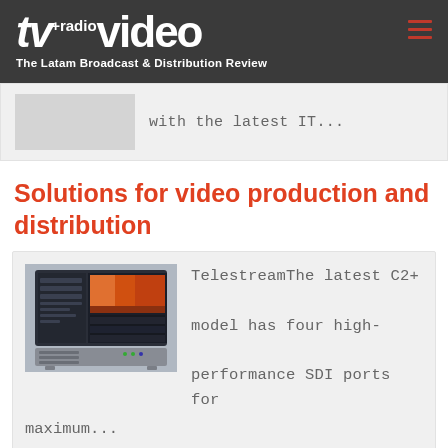tv+radio y video — The Latam Broadcast & Distribution Review
with the latest IT…
Solutions for video production and distribution
[Figure (photo): Screenshot of a video production software interface on a laptop/server device — Telestream C2+ model]
TelestreamThe latest C2+ model has four high-performance SDI ports for maximum…